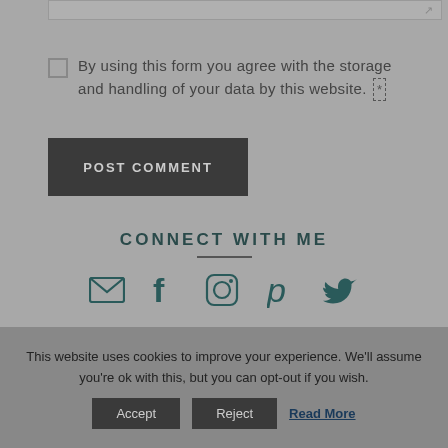By using this form you agree with the storage and handling of your data by this website. *
POST COMMENT
CONNECT WITH ME
[Figure (infographic): Social media icons: email (envelope), Facebook (f), Instagram (camera), Pinterest (p), Twitter (bird)]
This website uses cookies to improve your experience. We'll assume you're ok with this, but you can opt-out if you wish.
Accept   Reject   Read More